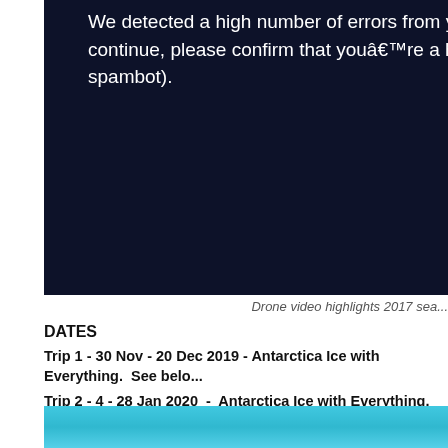[Figure (screenshot): Dark navy banner with white error message text: 'We detected a high number of errors from y... continue, please confirm that youâ€™re a h... spambot).']
Drone video highlights 2017 sea...
DATES
Trip 1 - 30 Nov - 20 Dec 2019 - Antarctica Ice with Everything.  See belo...
Trip 2 - 4 - 28 Jan 2020  -  Antarctica Ice with Everything. See below for...
Trip 3 - 15 Feb - 14 Mar 2020 - Antarctica Climbing and Ski Randonnee...
smwvenables@gmail.com for more information
[Figure (photo): Cyan/turquoise underwater or ocean surface image at the bottom of the page]